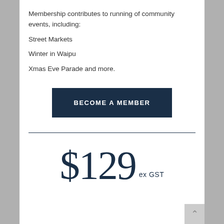Membership contributes to running of community events, including:
Street Markets
Winter in Waipu
Xmas Eve Parade and more.
BECOME A MEMBER
$129 ex GST